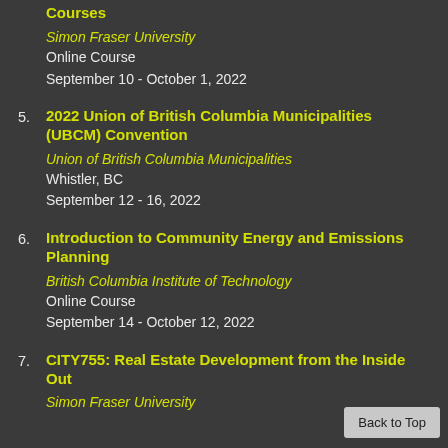Courses — Simon Fraser University — Online Course — September 10 - October 1, 2022
5. 2022 Union of British Columbia Municipalities (UBCM) Convention — Union of British Columbia Municipalities — Whistler, BC — September 12 - 16, 2022
6. Introduction to Community Energy and Emissions Planning — British Columbia Institute of Technology — Online Course — September 14 - October 12, 2022
7. CITY755: Real Estate Development from the Inside Out — Simon Fraser University